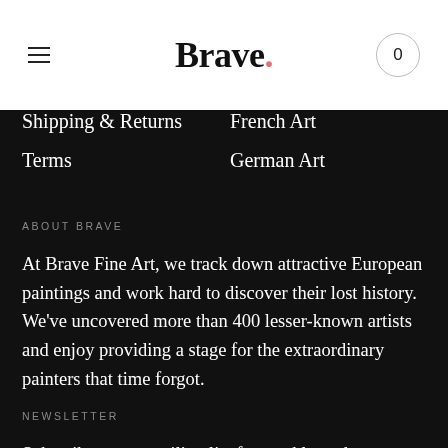Brave.
Shipping & Returns
Terms
French Art
German Art
ABOUT BRAVE
At Brave Fine Art, we track down attractive European paintings and work hard to discover their lost history. We've uncovered more than 400 lesser-known artists and enjoy providing a stage for the extraordinary painters that time forgot.
NEWSLETTER
Subscribe to our mailing list for weekly updates on our new finds.